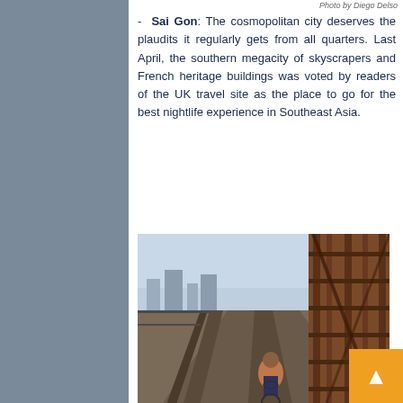Photo by Diego Delso
- Sai Gon: The cosmopolitan city deserves the plaudits it regularly gets from all quarters. Last April, the southern megacity of skyscrapers and French heritage buildings was voted by readers of the UK travel site as the place to go for the best nightlife experience in Southeast Asia.
[Figure (photo): A cyclist riding across an old iron bridge (Long Bien Bridge) in Hanoi, viewed from behind, with rusty steel trusses on the right and a misty cityscape in the background.]
Photo by pxhere
- Hanoi: Wandering in the city's Old Quarter and its 36 guild streets gives travellers the opportunity to find places where time has stood still. Then there is the iconic Long Bien